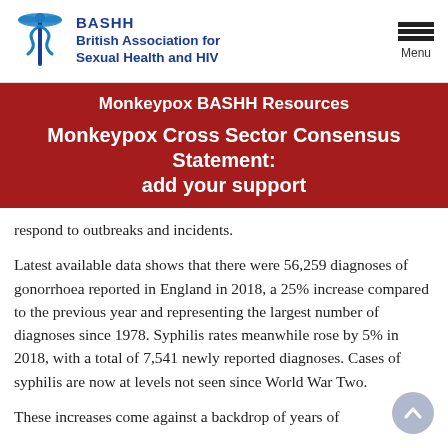BASHH British Association for Sexual Health and HIV | Menu
Monkeypox BASHH Resources
Monkeypox Cross Sector Consensus Statement: add your support
respond to outbreaks and incidents.
Latest available data shows that there were 56,259 diagnoses of gonorrhoea reported in England in 2018, a 25% increase compared to the previous year and representing the largest number of diagnoses since 1978. Syphilis rates meanwhile rose by 5% in 2018, with a total of 7,541 newly reported diagnoses. Cases of syphilis are now at levels not seen since World War Two.
These increases come against a backdrop of years of